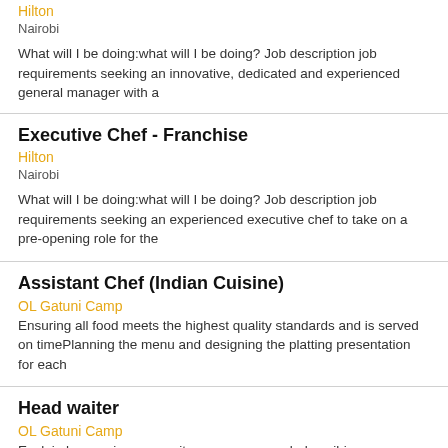Hilton
Nairobi
What will I be doing:what will I be doing? Job description job requirements seeking an innovative, dedicated and experienced general manager with a
Executive Chef - Franchise
Hilton
Nairobi
What will I be doing:what will I be doing? Job description job requirements seeking an experienced executive chef to take on a pre-opening role for the
Assistant Chef (Indian Cuisine)
OL Gatuni Camp
Ensuring all food meets the highest quality standards and is served on timePlanning the menu and designing the platting presentation for each
Head waiter
OL Gatuni Camp
Explain how various menu items are prepared, describing ingredients and cooking methods.Inform customers of daily specials, making recommendations
HR manager